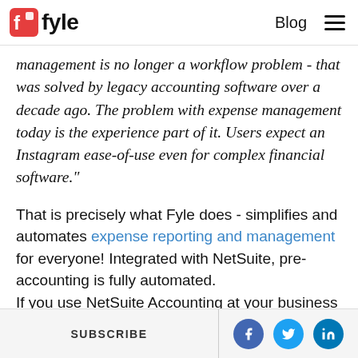Fyle | Blog
management is no longer a workflow problem - that was solved by legacy accounting software over a decade ago. The problem with expense management today is the experience part of it. Users expect an Instagram ease-of-use even for complex financial software."
That is precisely what Fyle does - simplifies and automates expense reporting and management for everyone! Integrated with NetSuite, pre-accounting is fully automated.
If you use NetSuite Accounting at your business
SUBSCRIBE